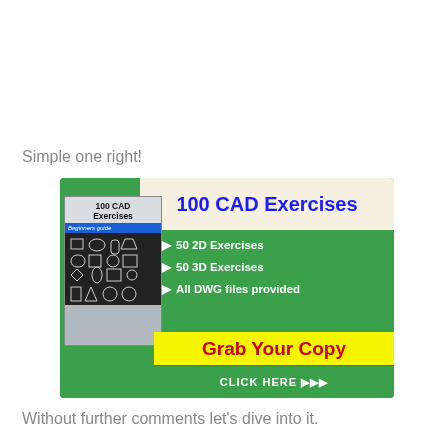Simple one right!
[Figure (illustration): Advertisement banner for '100 CAD Exercises' book. Green background with book cover image on left showing 'Beginners guide' and CAD icons. Right side lists: 50 2D Exercises, 50 3D Exercises, All DWG files provided. Yellow 'Grab Your Copy' button. 'CLICK HERE >>>' at bottom.]
Without further comments let's dive into it.